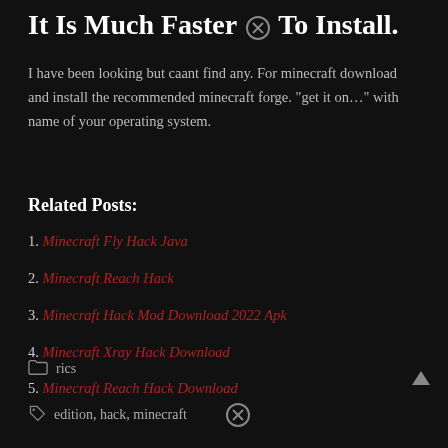It Is Much Faster To Install.
I have been looking but caant find any. For minecraft download and install the recommended minecraft forge. “get it on…” with name of your operating system.
Related Posts:
1. Minecraft Fly Hack Java
2. Minecraft Reach Hack
3. Minecraft Hack Mod Download 2022 Apk
4. Minecraft Xray Hack Download
5. Minecraft Reach Hack Download
rics
edition, hack, minecraft